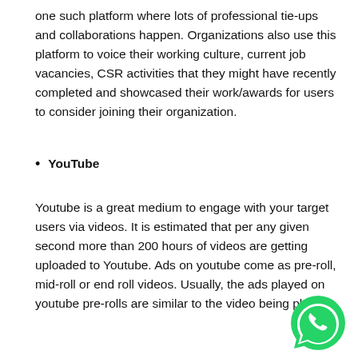one such platform where lots of professional tie-ups and collaborations happen. Organizations also use this platform to voice their working culture, current job vacancies, CSR activities that they might have recently completed and showcased their work/awards for users to consider joining their organization.
YouTube
Youtube is a great medium to engage with your target users via videos. It is estimated that per any given second more than 200 hours of videos are getting uploaded to Youtube. Ads on youtube come as pre-roll, mid-roll or end roll videos. Usually, the ads played on youtube pre-rolls are similar to the video being played.